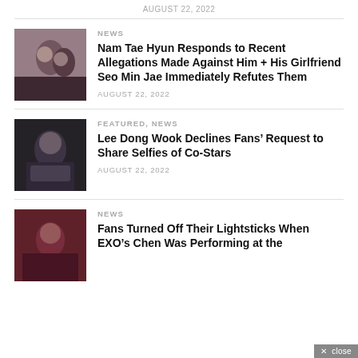AUGUST 22, 2022
[Figure (photo): Two people close together, selfie-style photo, dark tones]
NEWS
Nam Tae Hyun Responds to Recent Allegations Made Against Him + His Girlfriend Seo Min Jae Immediately Refutes Them
AUGUST 22, 2022
[Figure (photo): Man in dark clothing, formal setting, dark background]
FEATURED, NEWS
Lee Dong Wook Declines Fans’ Request to Share Selfies of Co-Stars
AUGUST 22, 2022
[Figure (photo): Person in reddish/dark tones, concert or similar event]
NEWS
Fans Turned Off Their Lightsticks When EXO’s Chen Was Performing at the #SMTOWNLIVE2022… Crowd was...